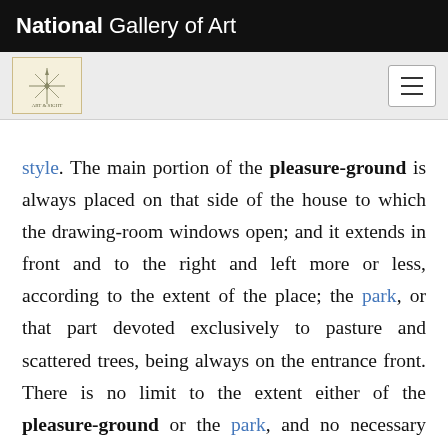National Gallery of Art
style. The main portion of the pleasure-ground is always placed on that side of the house to which the drawing-room windows open; and it extends in front and to the right and left more or less, according to the extent of the place; the park, or that part devoted exclusively to pasture and scattered trees, being always on the entrance front. There is no limit to the extent either of the pleasure-ground or the park, and no necessary connection between the size of the house and the size of the pleasure-ground. . . . In small pl[aces of] an acre or two, the most interesting objects w[hich] may be introduced in a pleasure-ground, are